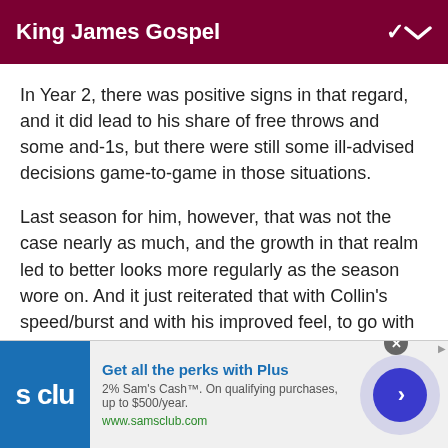King James Gospel
In Year 2, there was positive signs in that regard, and it did lead to his share of free throws and some and-1s, but there were still some ill-advised decisions game-to-game in those situations.
Last season for him, however, that was not the case nearly as much, and the growth in that realm led to better looks more regularly as the season wore on. And it just reiterated that with Collin's speed/burst and with his improved feel, to go with his strength, transition will continue to be crucial for him moving forward.
[Figure (other): Advertisement banner for Sam's Club showing logo, 'Get all the perks with Plus', '2% Sam's Cash™. On qualifying purchases, up to $500/year.', 'www.samsclub.com', and a blue arrow button]